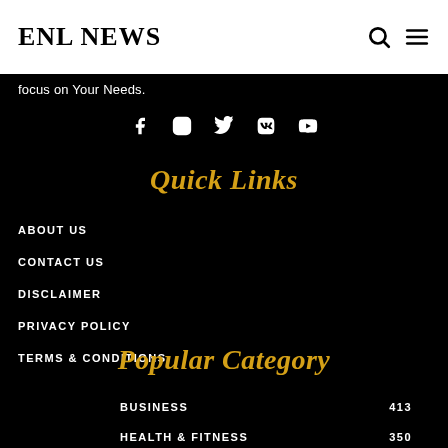ENL NEWS
focus on Your Needs.
[Figure (infographic): Social media icons: Facebook, Instagram, Twitter, VK, YouTube]
Quick Links
ABOUT US
CONTACT US
DISCLAIMER
PRIVACY POLICY
TERMS & CONDITIONS
Popular Category
BUSINESS 413
HEALTH & FITNESS 350
ENTERTAINMENT 339